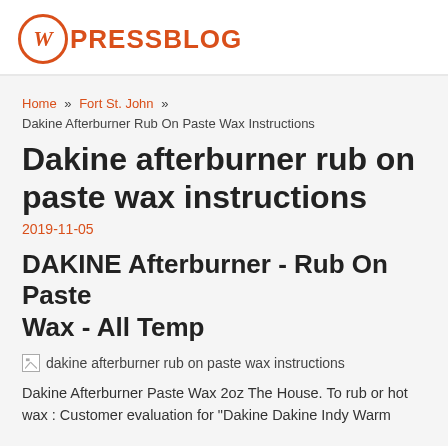WPRESSBLOG
Home » Fort St. John » Dakine Afterburner Rub On Paste Wax Instructions
Dakine afterburner rub on paste wax instructions
2019-11-05
DAKINE Afterburner - Rub On Paste Wax - All Temp
[Figure (photo): Broken image placeholder with alt text: dakine afterburner rub on paste wax instructions]
Dakine Afterburner Paste Wax 2oz The House. To rub or hot wax : Customer evaluation for "Dakine Dakine Indy Warm